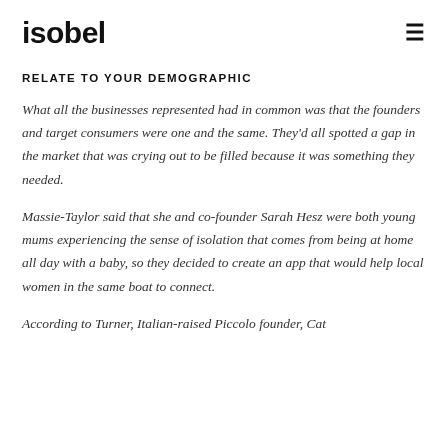isobel
RELATE TO YOUR DEMOGRAPHIC
What all the businesses represented had in common was that the founders and target consumers were one and the same. They'd all spotted a gap in the market that was crying out to be filled because it was something they needed.
Massie-Taylor said that she and co-founder Sarah Hesz were both young mums experiencing the sense of isolation that comes from being at home all day with a baby, so they decided to create an app that would help local women in the same boat to connect.
According to Turner, Italian-raised Piccolo founder, Cat